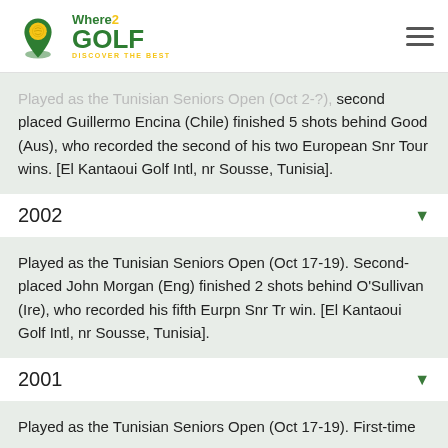Where2Golf - Discover the Best
Played as the Tunisian Seniors Open (Oct 2-?), second placed Guillermo Encina (Chile) finished 5 shots behind Good (Aus), who recorded the second of his two European Snr Tour wins. [El Kantaoui Golf Intl, nr Sousse, Tunisia].
2002
Played as the Tunisian Seniors Open (Oct 17-19). Second-placed John Morgan (Eng) finished 2 shots behind O'Sullivan (Ire), who recorded his fifth Eurpn Snr Tr win. [El Kantaoui Golf Intl, nr Sousse, Tunisia].
2001
Played as the Tunisian Seniors Open (Oct 17-19). First-time